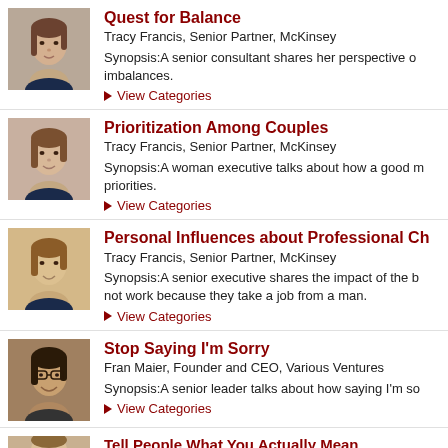[Figure (photo): Headshot of Tracy Francis, a woman with straight brown hair, wearing a dark top]
Quest for Balance
Tracy Francis, Senior Partner, McKinsey
Synopsis:A senior consultant shares her perspective on imbalances.
View Categories
[Figure (photo): Headshot of Tracy Francis, same photo as above]
Prioritization Among Couples
Tracy Francis, Senior Partner, McKinsey
Synopsis:A woman executive talks about how a good marriage focuses on priorities.
View Categories
[Figure (photo): Headshot of Tracy Francis, woman with light brown hair, smiling]
Personal Influences about Professional Ch
Tracy Francis, Senior Partner, McKinsey
Synopsis:A senior executive shares the impact of the b not work because they take a job from a man.
View Categories
[Figure (photo): Headshot of Fran Maier, a woman with dark hair and glasses, smiling]
Stop Saying I'm Sorry
Fran Maier, Founder and CEO, Various Ventures
Synopsis:A senior leader talks about how saying I'm so
View Categories
Tell People What You Actually Mean (partial, cut off)